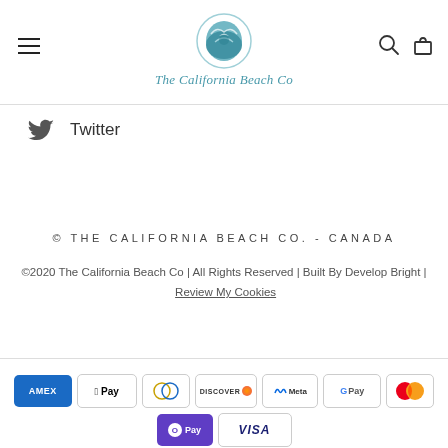[Figure (logo): The California Beach Co logo with circular wave/bird graphic and brand name in teal italic script]
Twitter
© THE CALIFORNIA BEACH CO. - CANADA
©2020 The California Beach Co | All Rights Reserved | Built By Develop Bright | Review My Cookies
[Figure (other): Payment method icons: American Express, Apple Pay, Diners Club, Discover, Meta Pay, Google Pay, Mastercard, Shop Pay, Visa]